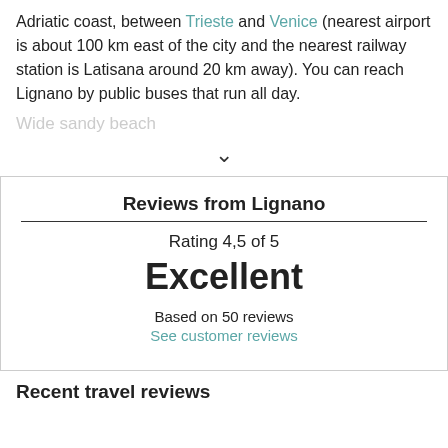Adriatic coast, between Trieste and Venice (nearest airport is about 100 km east of the city and the nearest railway station is Latisana around 20 km away). You can reach Lignano by public buses that run all day.
Wide sandy beach
Reviews from Lignano
Rating 4,5 of 5
Excellent
Based on 50 reviews
See customer reviews
Recent travel reviews